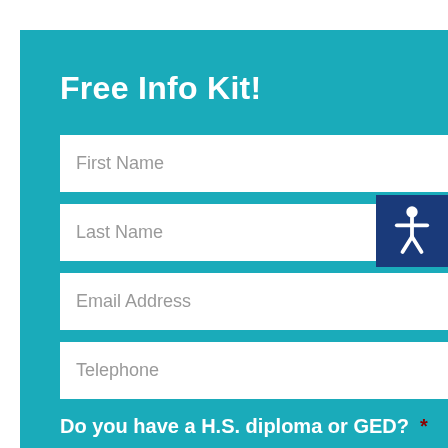Free Info Kit!
First Name
Last Name
Email Address
Telephone
Do you have a H.S. diploma or GED? *
Yes
No